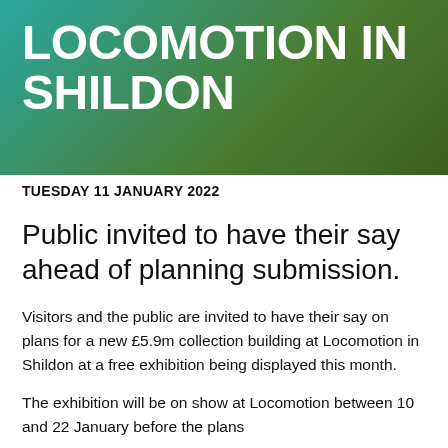LOCOMOTION IN SHILDON
TUESDAY 11 JANUARY 2022
Public invited to have their say ahead of planning submission.
Visitors and the public are invited to have their say on plans for a new £5.9m collection building at Locomotion in Shildon at a free exhibition being displayed this month.
The exhibition will be on show at Locomotion between 10 and 22 January before the plans